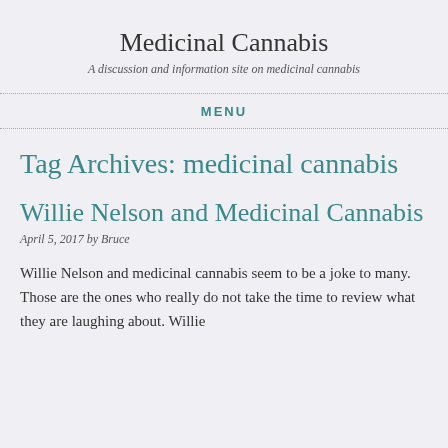Medicinal Cannabis
A discussion and information site on medicinal cannabis
MENU
Tag Archives: medicinal cannabis
Willie Nelson and Medicinal Cannabis
April 5, 2017 by Bruce
Willie Nelson and medicinal cannabis seem to be a joke to many. Those are the ones who really do not take the time to review what they are laughing about. Willie